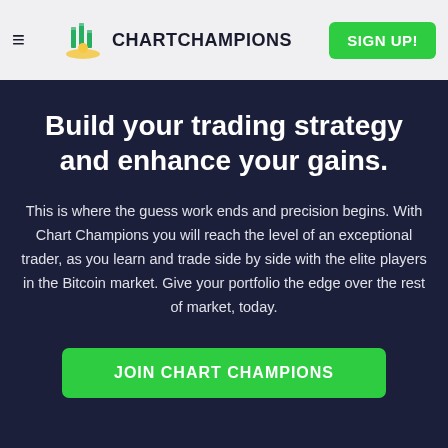≡  ChartChampions  SIGN UP!
Build your trading strategy and enhance your gains.
This is where the guess work ends and precision begins. With Chart Champions you will reach the level of an exceptional trader, as you learn and trade side by side with the elite players in the Bitcoin market. Give your portfolio the edge over the rest of market, today.
JOIN CHART CHAMPIONS